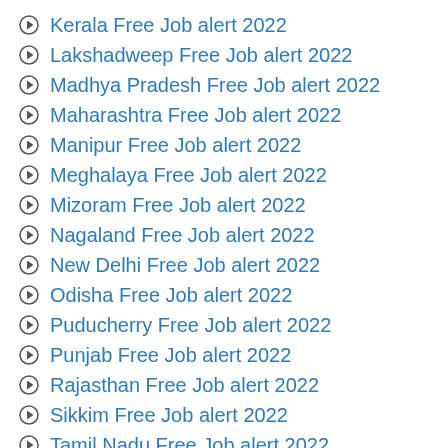Kerala Free Job alert 2022
Lakshadweep Free Job alert 2022
Madhya Pradesh Free Job alert 2022
Maharashtra Free Job alert 2022
Manipur Free Job alert 2022
Meghalaya Free Job alert 2022
Mizoram Free Job alert 2022
Nagaland Free Job alert 2022
New Delhi Free Job alert 2022
Odisha Free Job alert 2022
Puducherry Free Job alert 2022
Punjab Free Job alert 2022
Rajasthan Free Job alert 2022
Sikkim Free Job alert 2022
Tamil Nadu Free Job alert 2022